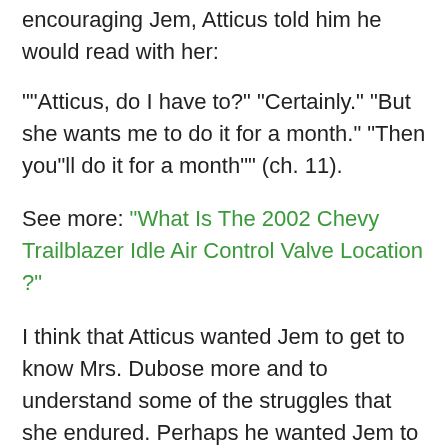encouraging Jem, Atticus told him he would read with her:
""Atticus, do I have to?" "Certainly." "But she wants me to do it for a month." "Then you"ll do it for a month"" (ch. 11).
See more: What Is The 2002 Chevy Trailblazer Idle Air Control Valve Location ?
I think that Atticus wanted Jem to get to know Mrs. Dubose more and to understand some of the struggles that she endured. Perhaps he wanted Jem to see more of her life so that he could understand why she might be so angry. Though Jem didn"t feel sorry when he first apologized, I think that Atticus knew that Jem would grow to feel sorry when he understood more about her. Atticus wanted Jem to see what a strong and brave woman Mrs. Dubose